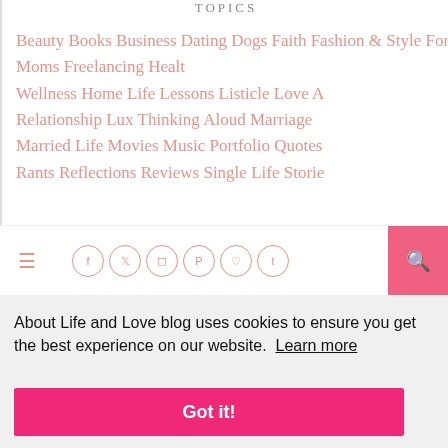TOPICS
Beauty Books Business Dating Dogs Faith Fashion & Style For Moms Freelancing Health & Wellness Home Life Lessons Listicle Love And Relationship Lux Thinking Aloud Marriage Married Life Movies Music Portfolio Quotes Rants Reflections Reviews Single Life Stories
[Figure (screenshot): Navigation bar with hamburger menu, social media icons (Facebook, Twitter, Instagram, Pinterest, heart/Bloglovin, Tumblr), and pink search button]
About Life and Love blog uses cookies to ensure you get the best experience on our website. Learn more
Got it!